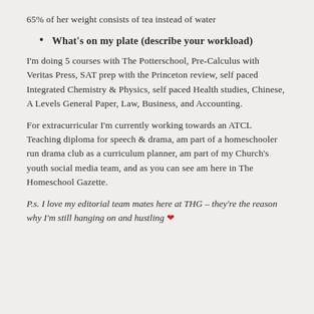65% of her weight consists of tea instead of water
What’s on my plate (describe your workload)
I’m doing 5 courses with The Potterschool, Pre-Calculus with Veritas Press, SAT prep with the Princeton review, self paced Integrated Chemistry & Physics, self paced Health studies, Chinese, A Levels General Paper, Law, Business, and Accounting.
For extracurricular I’m currently working towards an ATCL Teaching diploma for speech & drama, am part of a homeschooler run drama club as a curriculum planner, am part of my Church’s youth social media team, and as you can see am here in The Homeschool Gazette.
P.s. I love my editorial team mates here at THG – they’re the reason why I’m still hanging on and hustling ❤